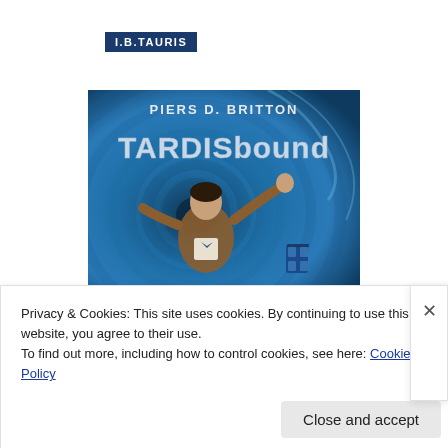[Figure (logo): I.B.TAURIS publisher logo, white text on dark blue rectangular background]
[Figure (illustration): Book cover of TARDISbound by Piers D. Britton. Blue swirling vortex background with a figure of a man in a brown jacket with arms outstretched. Title 'TARDISbound' in large metallic letters, author name 'PIERS D. BRITTON' above.]
Privacy & Cookies: This site uses cookies. By continuing to use this website, you agree to their use.
To find out more, including how to control cookies, see here: Cookie Policy
Close and accept